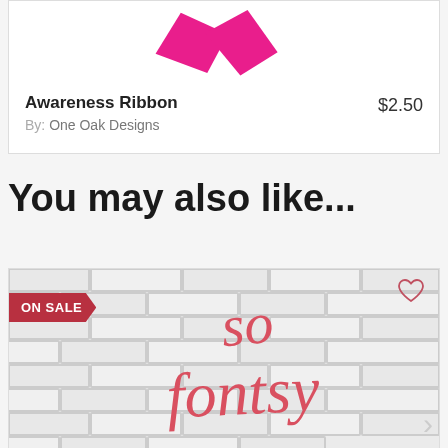[Figure (illustration): Awareness ribbon in hot pink/magenta color on white product card background]
Awareness Ribbon
By: One Oak Designs
$2.50
You may also like...
[Figure (photo): ON SALE banner product card showing 'so fontsy' script lettering on a brick wall background. Heart icon in top right corner. Next arrow on right side.]